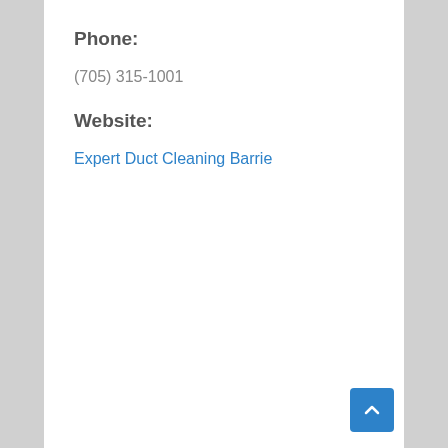Phone:
(705) 315-1001
Website:
Expert Duct Cleaning Barrie